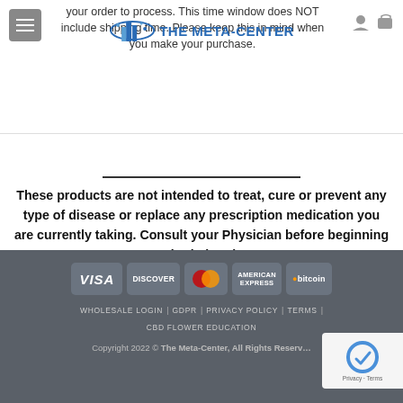your order to process. This time window does NOT include shipping time. Please keep this in mind when you make your purchase.
[Figure (logo): The Meta-Center logo with building/city icon and text 'THE META-CENTER' in blue]
These products are not intended to treat, cure or prevent any type of disease or replace any prescription medication you are currently taking. Consult your Physician before beginning any herbal regime. These products and statements have not been approved by the FDA. This information is provided for educational purposes only.
[Figure (infographic): Payment method icons: VISA, DISCOVER, MasterCard, AMERICAN EXPRESS, bitcoin]
WHOLESALE LOGIN | GDPR | PRIVACY POLICY | TERMS | CBD FLOWER EDUCATION
Copyright 2022 © The Meta-Center, All Rights Reserved